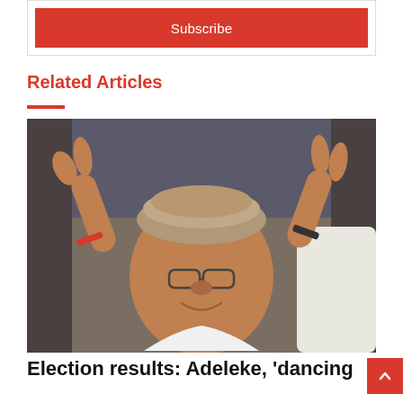Subscribe
Related Articles
[Figure (photo): A man wearing a traditional Nigerian cap making a victory/peace sign with both hands while sitting in a car, smiling at the camera. He is wearing glasses and a white shirt.]
Election results: Adeleke, 'dancing senator' becomes...